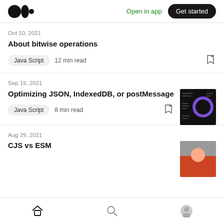Medium logo | Open in app | Get started
Oct 10, 2021
About bitwise operations
Java Script  12 min read
Sep 19, 2021
Optimizing JSON, IndexedDB, or postMessage
Java Script  8 min read
Aug 29, 2021
CJS vs ESM
Home | Search | Profile